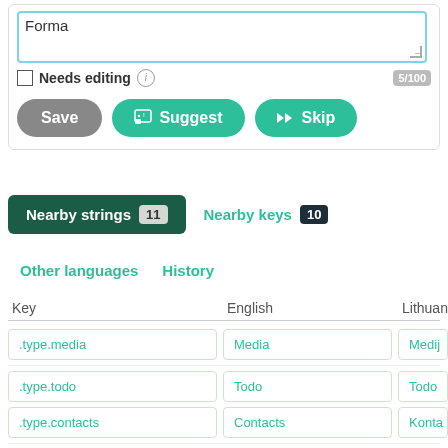[Figure (screenshot): UI form area with a textarea containing 'Forma', a 'Needs editing' checkbox with info icon and 5/100 counter, and three buttons: Save (grey), Suggest (green with icon), Skip (green with icon)]
Nearby strings 11
Nearby keys 10
Other languages
History
| Key | English | Lithuanian |
| --- | --- | --- |
| .type.media | Media | Medij |
| .type.todo | Todo | Todo |
| .type.contacts | Contacts | Konta |